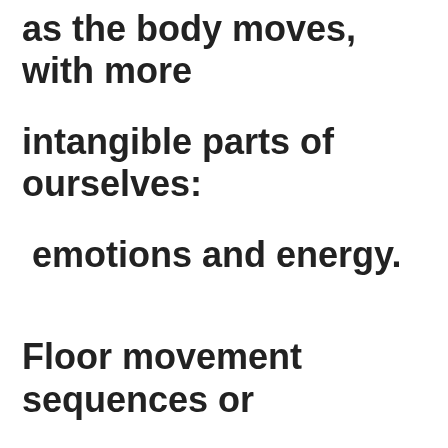as the body moves, with more intangible parts of ourselves:  emotions and energy.

Floor movement sequences or table work, using either Feldenkrais or Alexander techniques, promote awareness of discomfort and blockage in the